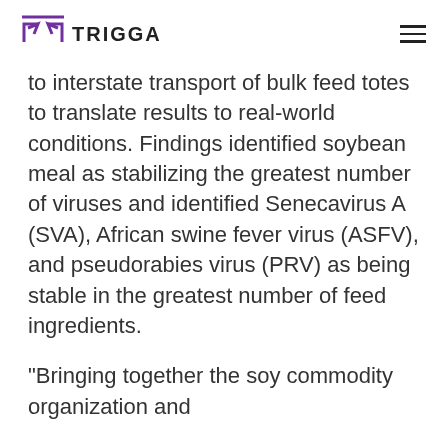TRIGGA
to interstate transport of bulk feed totes to translate results to real-world conditions. Findings identified soybean meal as stabilizing the greatest number of viruses and identified Senecavirus A (SVA), African swine fever virus (ASFV), and pseudorabies virus (PRV) as being stable in the greatest number of feed ingredients.
“Bringing together the soy commodity organization and